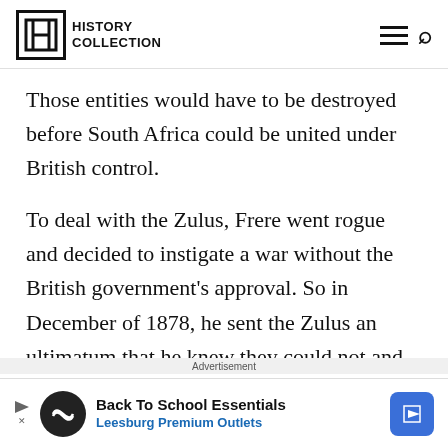History Collection
Those entities would have to be destroyed before South Africa could be united under British control.
To deal with the Zulus, Frere went rogue and decided to instigate a war without the British government's approval. So in December of 1878, he sent the Zulus an ultimatum that he knew they could not and would not comply with. It included
Advertisement
[Figure (other): Advertisement banner for Back To School Essentials - Leesburg Premium Outlets]